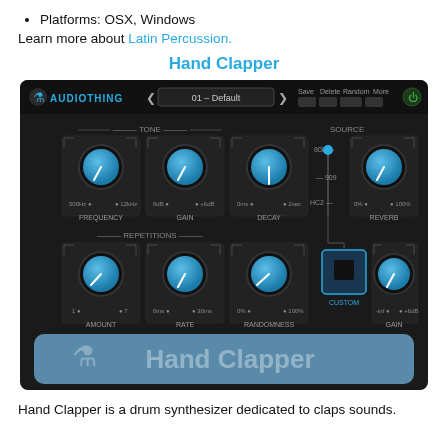Platforms: OSX, Windows
Learn more about Latin Percussion.
Hand Clapper
[Figure (screenshot): AudioThing Hand Clapper plugin UI showing knobs for Tone (Frequency, Gain, Decay), Repetitions (Amount, Rate, Randomness), Source selector (808, 909, HC2, Custom), Reverb, and Gain controls on a dark background with Hand Clapper branding at the bottom.]
Hand Clapper is a drum synthesizer dedicated to claps sounds.